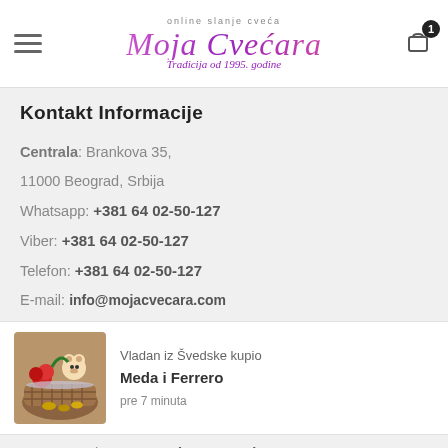Moja Cvećara — online slanje cveća, Tradicija od 1995. godine
Kontakt Informacije
Centrala: Brankova 35, 11000 Beograd, Srbija
Whatsapp: +381 64 02-50-127
Viber: +381 64 02-50-127
Telefon: +381 64 02-50-127
E-mail: info@mojacvecara.com
[Figure (infographic): Notification card showing a gift basket with teddy bear and Ferrero chocolates. Text: 'Vladan iz Švedske kupio', 'Meda i Ferrero', 'pre 7 minuta']
71000 Sarajevo, Bosna i Hercegovina
Skendera Kulenovića 115